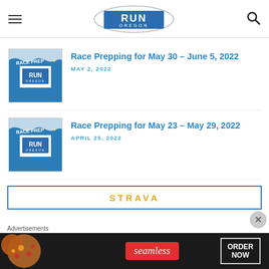Run Oregon - navigation header
Race Prepping for May 30 – June 5, 2022
MAY 2, 2022
Race Prepping for May 23 – May 29, 2022
APRIL 25, 2022
STRAVA
Advertisements
[Figure (photo): Seamless food delivery advertisement banner showing pizza with Seamless logo and ORDER NOW button]